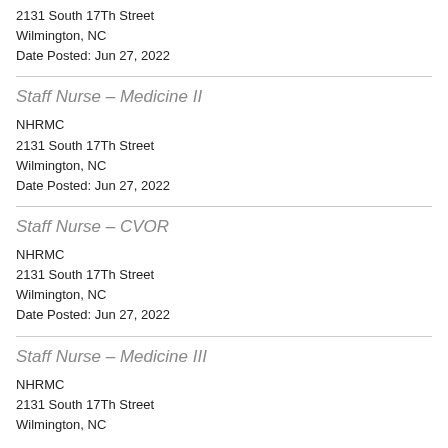2131 South 17Th Street
Wilmington, NC
Date Posted: Jun 27, 2022
Staff Nurse – Medicine II
NHRMC
2131 South 17Th Street
Wilmington, NC
Date Posted: Jun 27, 2022
Staff Nurse – CVOR
NHRMC
2131 South 17Th Street
Wilmington, NC
Date Posted: Jun 27, 2022
Staff Nurse – Medicine III
NHRMC
2131 South 17Th Street
Wilmington, NC